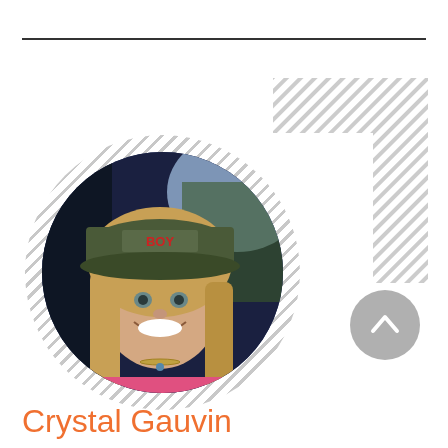[Figure (photo): Profile photo of Crystal Gauvin: a woman wearing a baseball cap and pink top, smiling, seated in a car. The photo is displayed in a circular frame with a diagonal stripe pattern border. A decorative corner bracket appears in the upper right. A scroll-up button is visible at the lower right.]
Crystal Gauvin